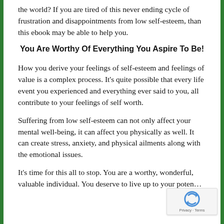the world? If you are tired of this never ending cycle of frustration and disappointments from low self-esteem, than this ebook may be able to help you.
You Are Worthy Of Everything You Aspire To Be!
How you derive your feelings of self-esteem and feelings of value is a complex process. It’s quite possible that every life event you experienced and everything ever said to you, all contribute to your feelings of self worth.
Suffering from low self-esteem can not only affect your mental well-being, it can affect you physically as well. It can create stress, anxiety, and physical ailments along with the emotional issues.
It’s time for this all to stop. You are a worthy, wonderful, valuable individual. You deserve to live up to your potential and reach all of your goals in life from...